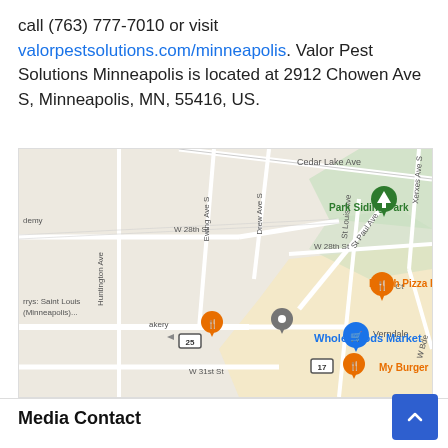call (763) 777-7010 or visit valorpestsolutions.com/minneapolis. Valor Pest Solutions Minneapolis is located at 2912 Chowen Ave S, Minneapolis, MN, 55416, US.
[Figure (map): Google Maps screenshot showing a neighborhood map of Minneapolis, MN area near 2912 Chowen Ave S, featuring streets including W 28th St, W 31st St, Huntington Ave, Ewing Ave S, Drew Ave S, Cedar Lake Ave, St Paul Ave, St Louis Ave, Xerxes Ave S, Dean Ct, and W Bde. Landmarks labeled include Park Siding Park (green pin), Punch Pizza Lake Street (orange pin), Whole Foods Market (blue pin), My Burger (orange pin), bakery (orange pin), a gray location pin, and route 25 and 17 markers. A beige/yellow highlighted area appears in the lower right portion of the map.]
Media Contact